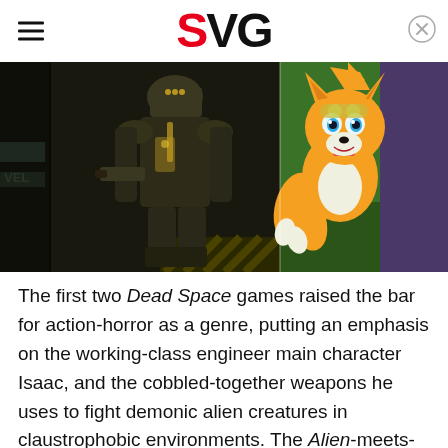SVG
[Figure (photo): Split composite image: left half shows Isaac Clarke in heavy armor from Dead Space game in a dark sci-fi corridor; right half shows Tails (Miles Prower) from Sonic the Hedgehog animated series looking surprised.]
The first two Dead Space games raised the bar for action-horror as a genre, putting an emphasis on the working-class engineer main character Isaac, and the cobbled-together weapons he uses to fight demonic alien creatures in claustrophobic environments. The Alien-meets-Evil-Dead tone was a hit, and players were eager to see how the developers would end the trilogy.